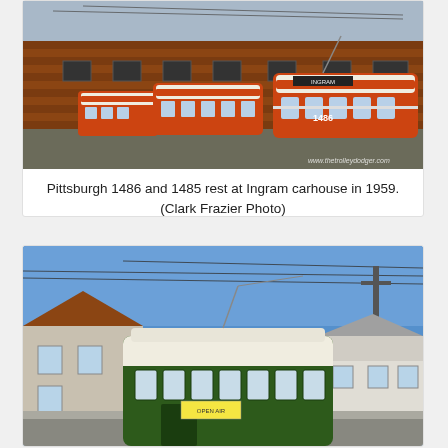[Figure (photo): Photograph of Pittsburgh PCC streetcars 1486 and 1485 in orange and cream livery lined up at Ingram carhouse in 1959, with a brick building in the background. Watermark: www.thetrolleydodger.com]
Pittsburgh 1486 and 1485 rest at Ingram carhouse in 1959. (Clark Frazier Photo)
[Figure (photo): Photograph of a green and cream streetcar on a city street with blue sky, residential buildings visible in the background, and overhead trolley wires visible above.]